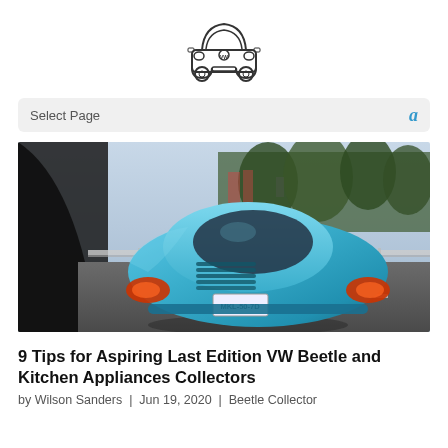[Figure (logo): Car front-view icon/logo outline drawing of a Volkswagen Beetle]
Select Page  a
[Figure (photo): Rear view of a blue Volkswagen Beetle driving on a highway, trees and city buildings in the background, shot from inside another vehicle]
9 Tips for Aspiring Last Edition VW Beetle and Kitchen Appliances Collectors
by Wilson Sanders  |  Jun 19, 2020  |  Beetle Collector